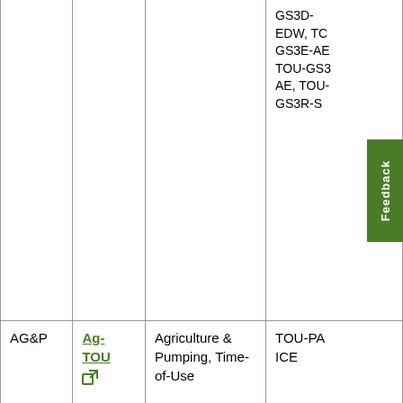| Category | Rate | Description | Related Rates |
| --- | --- | --- | --- |
|  |  |  | GS3D-EDW, TC GS3E-AE TOU-GS3 AE, TOU- GS3R-S |
| AG&P | Ag-TOU | Agriculture & Pumping, Time-of-Use | TOU-PA ICE |
| AG&P | TOU-PA-2 | Agriculture & Pumping, Time-of-Use | TOU-P TOU-P TOU-PA2 TOU-PA2 RTP, TOU PA2D-S, TOU-PA2 TPA2D-5 TPA2E-5 |